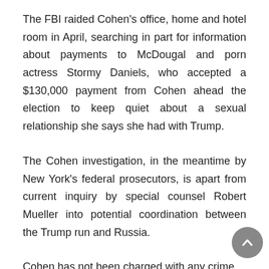The FBI raided Cohen's office, home and hotel room in April, searching in part for information about payments to McDougal and porn actress Stormy Daniels, who accepted a $130,000 payment from Cohen ahead the election to keep quiet about a sexual relationship she says she had with Trump.
The Cohen investigation, in the meantime by New York's federal prosecutors, is apart from current inquiry by special counsel Robert Mueller into potential coordination between the Trump run and Russia.
Cohen has not been charged with any crime.
By Sowmya Sangam